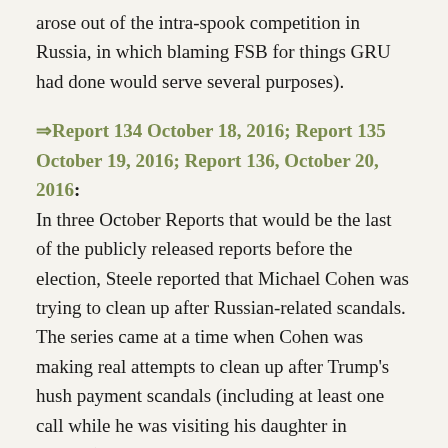arose out of the intra-spook competition in Russia, in which blaming FSB for things GRU had done would serve several purposes).
⇒Report 134 October 18, 2016; Report 135 October 19, 2016; Report 136, October 20, 2016:
In three October Reports that would be the last of the publicly released reports before the election, Steele reported that Michael Cohen was trying to clean up after Russian-related scandals. The series came at a time when Cohen was making real attempts to clean up after Trump's hush payment scandals (including at least one call while he was visiting his daughter in London) and Hope Hicks asked him to address pee tape rumors that TMZ was chasing. The series also came during the Kilimnik-Gates-Manafort crime spree attempting to cover up